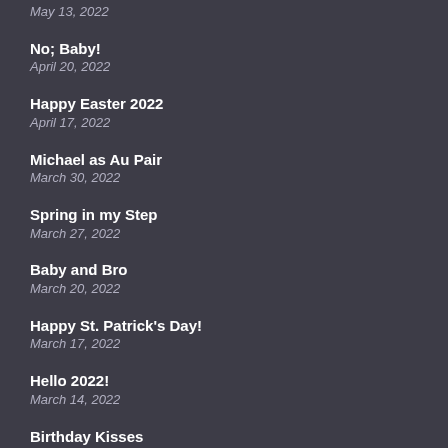May 13, 2022
No; Baby!
April 20, 2022
Happy Easter 2022
April 17, 2022
Michael as Au Pair
March 30, 2022
Spring in my Step
March 27, 2022
Baby and Bro
March 20, 2022
Happy St. Patrick's Day!
March 17, 2022
Hello 2022!
March 14, 2022
Birthday Kisses
February 22, 2022
Van Gogh Immersion
February 16, 2022